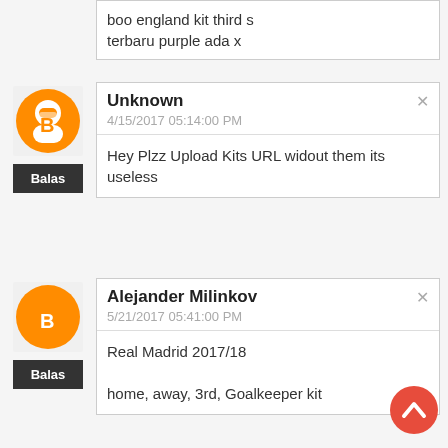boo england kit third s terbaru purple ada x
Unknown
4/15/2017 05:14:00 PM
Hey Plzz Upload Kits URL widout them its useless
Alejander Milinkov
5/21/2017 05:41:00 PM
Real Madrid 2017/18

home, away, 3rd, Goalkeeper kit